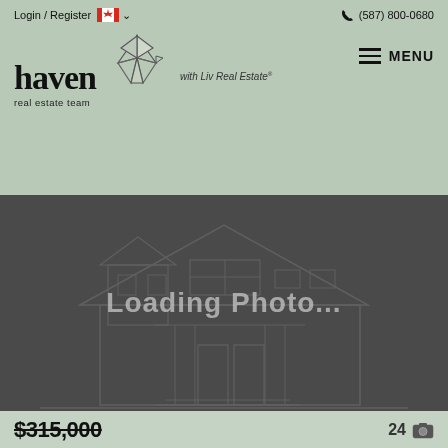Login / Register  (587) 800-0680
[Figure (logo): Haven real estate team with Liv Real Estate logo — origami bird and bold serif haven text]
MENU
[Figure (photo): Loading Photo... placeholder showing outline of a two-story house on dark gray background]
$315,000
24
#231 6703 172 Street